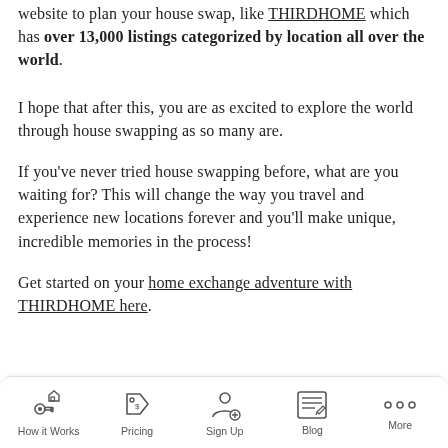website to plan your house swap, like THIRDHOME which has over 13,000 listings categorized by location all over the world.
I hope that after this, you are as excited to explore the world through house swapping as so many are.
If you've never tried house swapping before, what are you waiting for? This will change the way you travel and experience new locations forever and you'll make unique, incredible memories in the process!
Get started on your home exchange adventure with THIRDHOME here.
How it Works | Pricing | Sign Up | Blog | More